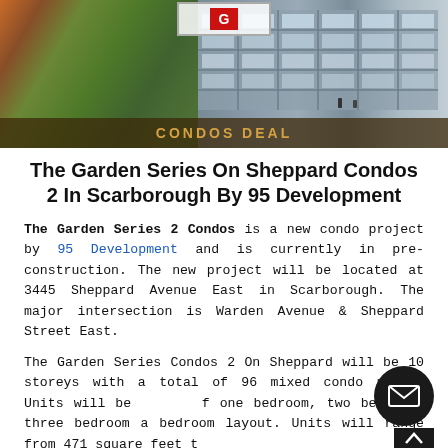[Figure (photo): Hero image of The Garden Series On Sheppard Condos 2 showing a rendering of the building with trees, with 'CONDOS DEAL' overlay text and a logo box at top center]
The Garden Series On Sheppard Condos 2 In Scarborough By 95 Development
The Garden Series 2 Condos is a new condo project by 95 Development and is currently in pre-construction. The new project will be located at 3445 Sheppard Avenue East in Scarborough. The major intersection is Warden Avenue & Sheppard Street East.
The Garden Series Condos 2 On Sheppard will be 10 storeys with a total of 96 mixed condo units. Units will be of one bedroom, two bedroom, three bedroom a bedroom layout. Units will range from 471 square feet t